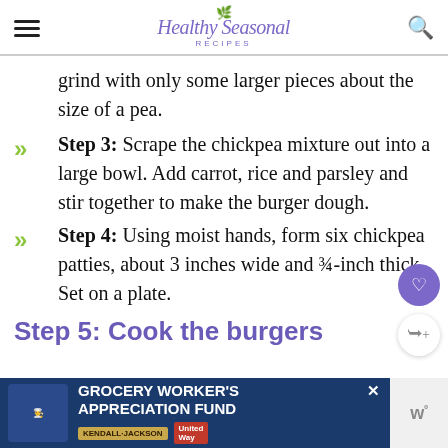Healthy Seasonal Recipes
grind with only some larger pieces about the size of a pea.
Step 3: Scrape the chickpea mixture out into a large bowl. Add carrot, rice and parsley and stir together to make the burger dough.
Step 4: Using moist hands, form six chickpea patties, about 3 inches wide and ¾-inch thick. Set on a plate.
Step 5: Cook the burgers
[Figure (other): Advertisement banner: Grocery Worker's Appreciation Fund with Kendall-Jackson and United Way logos]